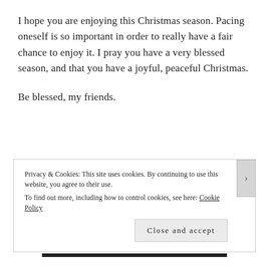I hope you are enjoying this Christmas season. Pacing oneself is so important in order to really have a fair chance to enjoy it. I pray you have a very blessed season, and that you have a joyful, peaceful Christmas.
Be blessed, my friends.
Privacy & Cookies: This site uses cookies. By continuing to use this website, you agree to their use. To find out more, including how to control cookies, see here: Cookie Policy
Close and accept